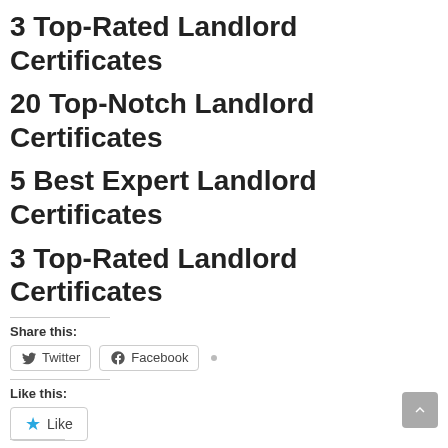3 Top-Rated Landlord Certificates
20 Top-Notch Landlord Certificates
5 Best Expert Landlord Certificates
3 Top-Rated Landlord Certificates
Share this:
Twitter  Facebook
Like this:
Like
Be the first to like this.